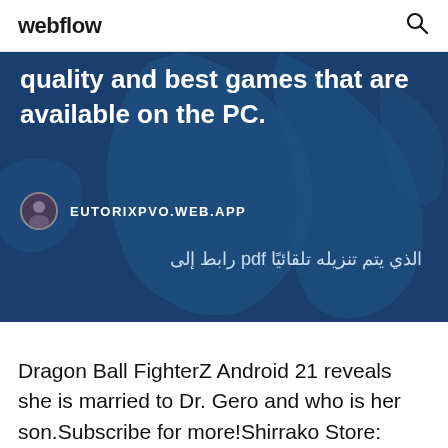webflow
quality and best games that are available on the PC.
EUTORIXPVO.WEB.APP
الذي يتم تنزيله تلقائيًا pdf رابط إلى
Dragon Ball FighterZ Android 21 reveals she is married to Dr. Gero and who is her son.Subscribe for more!Shirrako Store: